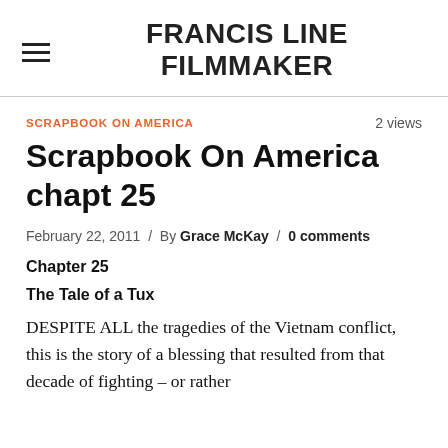FRANCIS LINE FILMMAKER
SCRAPBOOK ON AMERICA
2 views
Scrapbook On America chapt 25
February 22, 2011 / By Grace McKay / 0 comments
Chapter 25
The Tale of a Tux
DESPITE ALL the tragedies of the Vietnam conflict, this is the story of a blessing that resulted from that decade of fighting – or rather